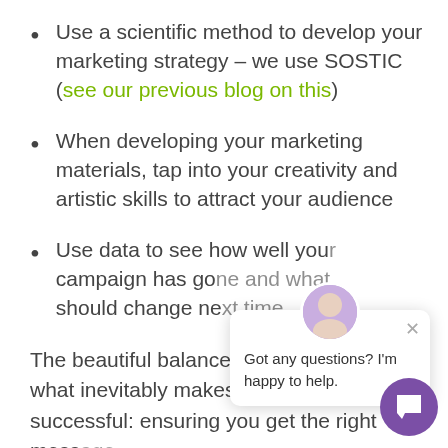Use a scientific method to develop your marketing strategy – we use SOSTIC (see our previous blog on this)
When developing your marketing materials, tap into your creativity and artistic skills to attract your audience
Use data to see how well your campaign has go... should change ne...
The beautiful balance of art and science is what inevitably makes marketing so successful: ensuring you get the right mess to the right people in the right way